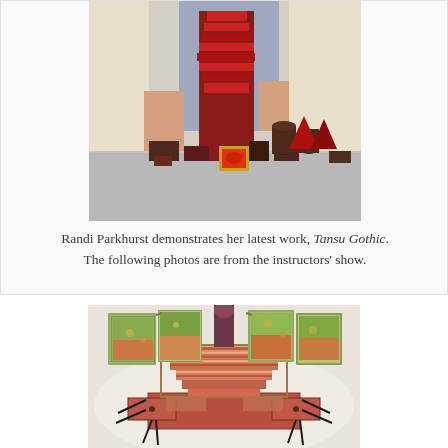[Figure (photo): Randi Parkhurst demonstrating her artwork Tansu Gothic — a tall red and dark geometric sculptural structure on a table, with triangular and cylindrical forms arranged beside it.]
Randi Parkhurst demonstrates her latest work, Tansu Gothic. The following photos are from the instructors' show.
[Figure (photo): An accordion-folded artist's book/box structure with colorful painted panels fanned open, sitting atop a layered striped pyramid box with small drawers pulled out, displayed on a white surface.]